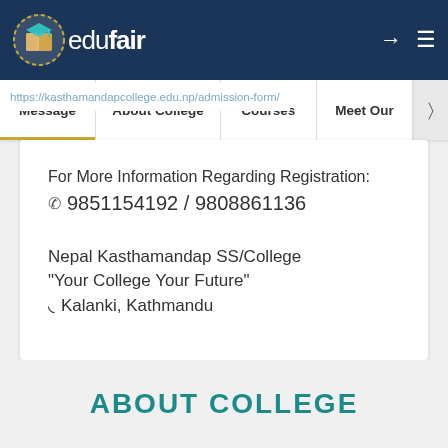[Figure (logo): Edufair logo — circular emblem with book/graduation cap icon in gold/teal on dark blue background, with 'edufair' text]
Message | About College | Courses | Meet Our
https://kasthamandapcollege.edu.np/admission-form/
For More Information Regarding Registration:
☎ 9851154192 / 9808861136
Nepal Kasthamandap SS/College
"Your College Your Future"
⌖ Kalanki, Kathmandu
ABOUT COLLEGE